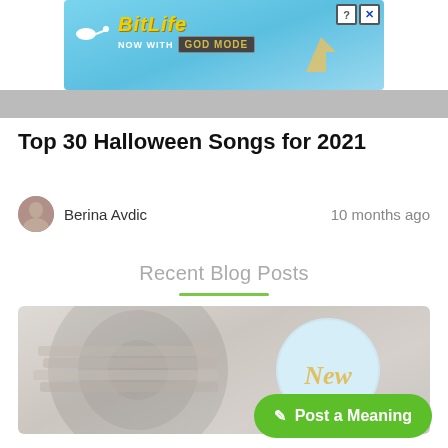[Figure (screenshot): BitLife game advertisement banner with blue background, 'NOW WITH GOD MODE' text, hand pointing cursor graphic, help and close buttons]
Top 30 Halloween Songs for 2021
Berina Avdic    10 months ago
Recent Blog Posts
[Figure (photo): Vinyl record image with a circular blue-ish label reading 'New' in gold cursive text]
✎ Post a Meaning